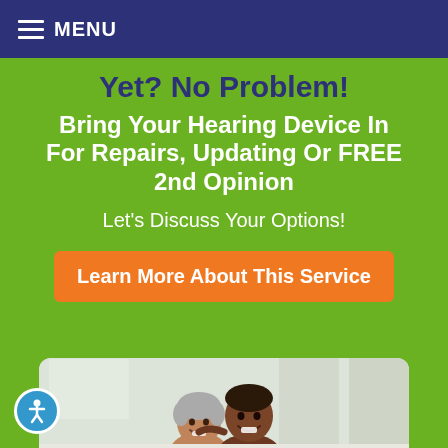MENU
Yet? No Problem!
Bring Your Hearing Device In For Repairs, Updating Or FREE 2nd Opinion
Let's Discuss Your Options!
Learn More About This Service
[Figure (photo): Two smiling elderly people, a woman and a man, appearing happy together in a white card on green background]